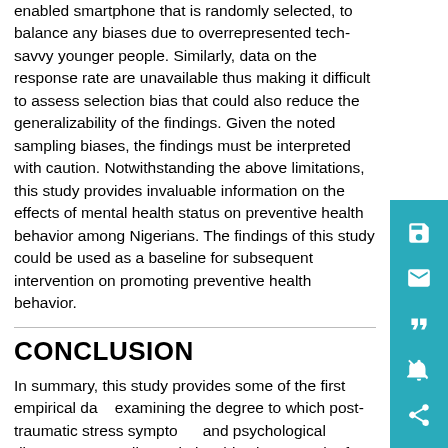enabled smartphone that is randomly selected, to balance any biases due to overrepresented tech-savvy younger people. Similarly, data on the response rate are unavailable thus making it difficult to assess selection bias that could also reduce the generalizability of the findings. Given the noted sampling biases, the findings must be interpreted with caution. Notwithstanding the above limitations, this study provides invaluable information on the effects of mental health status on preventive health behavior among Nigerians. The findings of this study could be used as a baseline for subsequent intervention on promoting preventive health behavior.
CONCLUSION
In summary, this study provides some of the first empirical data examining the degree to which post-traumatic stress symptoms and psychological distress may mediate relationships between the fear of COVID-19 and preventive health behavior in a gender sensitive manner. Our a priori hypotheses were supported. The relationship between the fear of COVID-19 and preventive health behavior was mediated positively by post-traumatic stress symptoms and negatively by psychological distress. Also, the fear